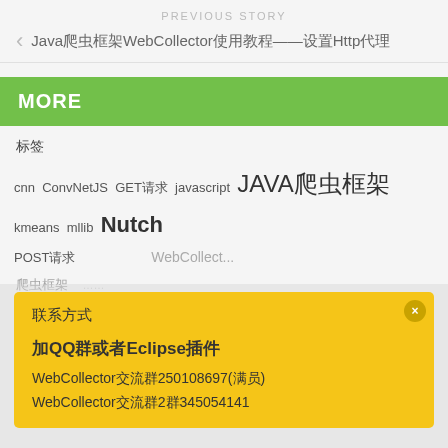PREVIOUS STORY
Java爬虫框架WebCollector使用教程——设置Http代理
MORE
标签
cnn  ConvNetJS  GET请求  javascript  JAVA爬虫框架  kmeans  mllib  Nutch  POST请求  爬虫框架  WebCollector
加入QQ群
WebCollector交流群250108697(满员)
加入QQ群
WebCollector交流群250108697(满员)
[Figure (screenshot): Yellow popup overlay with close button (x), title text, bold link for QQ群和Eclipse插件, and two WebCollector links with group numbers]
联系方式
加QQ群或者Eclipse插件
WebCollector交流群250108697(满员)
WebCollector交流群2群345054141